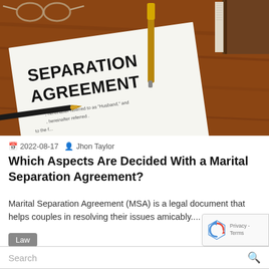[Figure (photo): Photo of a Separation Agreement legal document on a wooden desk with a pen, glasses, and a book. The document title reads 'SEPARATION AGREEMENT' with text 'hereinafter referred to as Husband, and hereinafter referred to the f...']
2022-08-17   Jhon Taylor
Which Aspects Are Decided With a Marital Separation Agreement?
Marital Separation Agreement (MSA) is a legal document that helps couples in resolving their issues amicably....
Law
Search